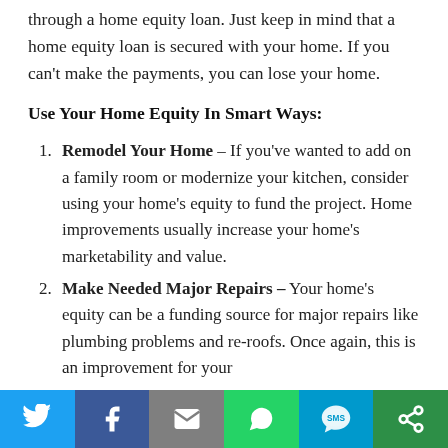through a home equity loan. Just keep in mind that a home equity loan is secured with your home. If you can't make the payments, you can lose your home.
Use Your Home Equity In Smart Ways:
Remodel Your Home – If you've wanted to add on a family room or modernize your kitchen, consider using your home's equity to fund the project. Home improvements usually increase your home's marketability and value.
Make Needed Major Repairs – Your home's equity can be a funding source for major repairs like plumbing problems and re-roofs. Once again, this is an improvement for your
[Figure (infographic): Social share bar with Twitter, Facebook, Email, WhatsApp, SMS, and More buttons]